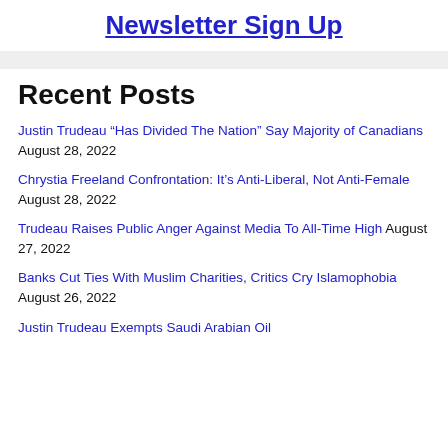Newsletter Sign Up
Justin Trudeau “Has Divided The Nation” Say Majority of Canadians August 28, 2022
Chrystia Freeland Confrontation: It’s Anti-Liberal, Not Anti-Female August 28, 2022
Trudeau Raises Public Anger Against Media To All-Time High August 27, 2022
Banks Cut Ties With Muslim Charities, Critics Cry Islamophobia August 26, 2022
Justin Trudeau Exempts Saudi Arabian Oil